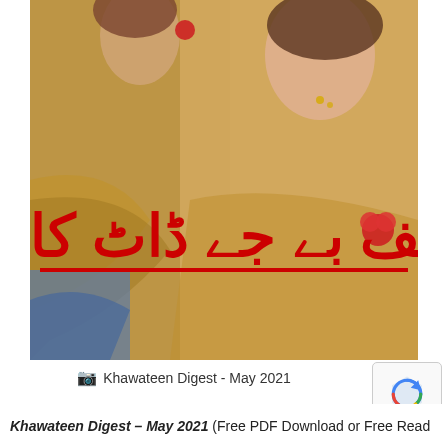[Figure (photo): Magazine cover of Khawateen Digest May 2021 showing two women in golden embroidered traditional Pakistani bridal/festive outfits. Urdu text overlay reads 'الف بے جے ڈاٹ کام' in red with a red underline.]
Khawateen Digest - May 2021
Khawateen Digest – May 2021 (Free PDF Download or Free Read